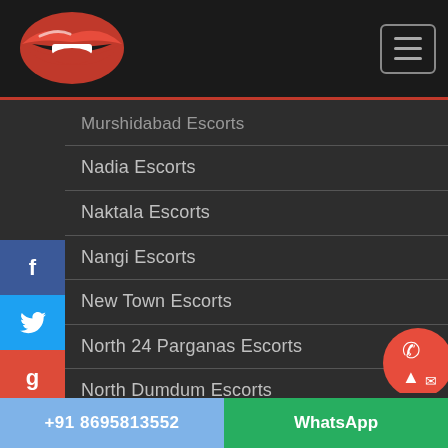Escorts directory website header with logo and navigation
Murshidabad Escorts
Nadia Escorts
Naktala Escorts
Nangi Escorts
New Town Escorts
North 24 Parganas Escorts
North Dumdum Escorts
Panihati Escorts
Parkcircus Escorts
+91 8695813552   WhatsApp